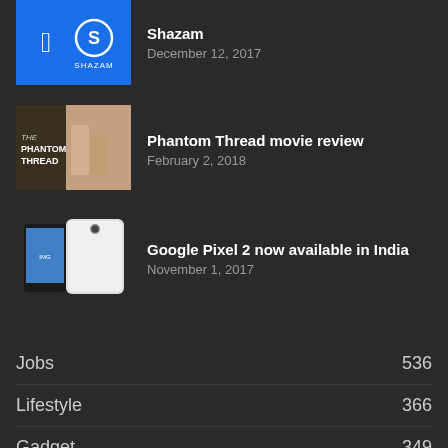[Figure (screenshot): Shazam app logo with Apple logo and Shazam logo on blue background]
Shazam
December 12, 2017
[Figure (photo): Phantom Thread movie poster]
Phantom Thread movie review
February 2, 2018
[Figure (photo): Google Pixel 2 phone front and back]
Google Pixel 2 now available in India
November 1, 2017
Jobs 536
Lifestyle 366
Gadget 349
World 239